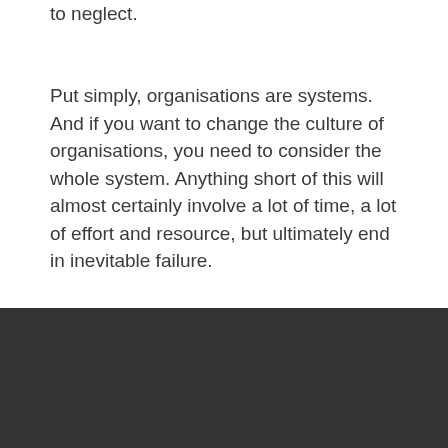to neglect.
Put simply, organisations are systems. And if you want to change the culture of organisations, you need to consider the whole system. Anything short of this will almost certainly involve a lot of time, a lot of effort and resource, but ultimately end in inevitable failure.